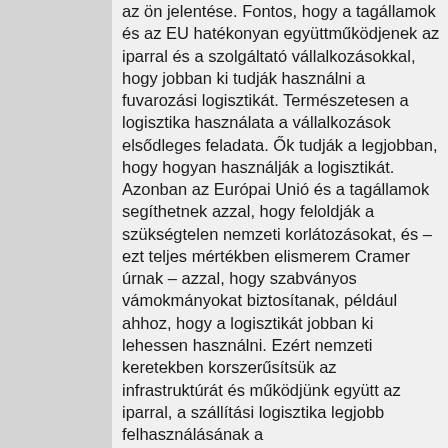az ön jelentése. Fontos, hogy a tagállamok és az EU hatékonyan együttműködjenek az iparral és a szolgáltató vállalkozásokkal, hogy jobban ki tudják használni a fuvarozási logisztikát. Természetesen a logisztika használata a vállalkozások elsődleges feladata. Ők tudják a legjobban, hogy hogyan használják a logisztikát. Azonban az Európai Unió és a tagállamok segíthetnek azzal, hogy feloldják a szükségtelen nemzeti korlátozásokat, és – ezt teljes mértékben elismerem Cramer úrnak – azzal, hogy szabványos vámokmányokat biztosítanak, például ahhoz, hogy a logisztikát jobban ki lehessen használni. Ezért nemzeti keretekben korszerűsítsük az infrastruktúrát és működjünk együtt az iparral, a szállítási logisztika legjobb felhasználásának a